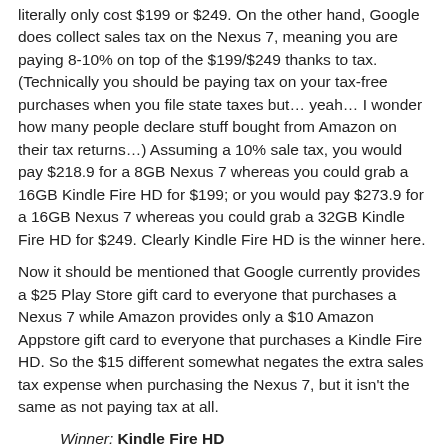literally only cost $199 or $249. On the other hand, Google does collect sales tax on the Nexus 7, meaning you are paying 8-10% on top of the $199/$249 thanks to tax. (Technically you should be paying tax on your tax-free purchases when you file state taxes but… yeah… I wonder how many people declare stuff bought from Amazon on their tax returns…) Assuming a 10% sale tax, you would pay $218.9 for a 8GB Nexus 7 whereas you could grab a 16GB Kindle Fire HD for $199; or you would pay $273.9 for a 16GB Nexus 7 whereas you could grab a 32GB Kindle Fire HD for $249. Clearly Kindle Fire HD is the winner here.
Now it should be mentioned that Google currently provides a $25 Play Store gift card to everyone that purchases a Nexus 7 while Amazon provides only a $10 Amazon Appstore gift card to everyone that purchases a Kindle Fire HD. So the $15 different somewhat negates the extra sales tax expense when purchasing the Nexus 7, but it isn't the same as not paying tax at all.
Winner: Kindle Fire HD